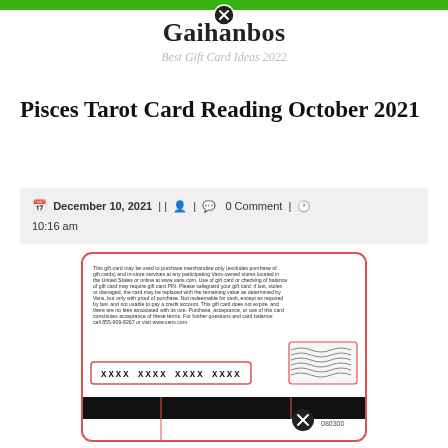Gaihanbos — Best Gift Card Ideas 2022
Pisces Tarot Card Reading October 2021
December 10, 2021 | | | 0 Comment | 10:16 am
[Figure (photo): Image of a Vans gift card showing card terms and conditions text, card number placeholder (XXXX XXXX XXXX XXXX), a barcode/security pattern area, a redacted magnetic stripe, a close button overlay, and a number 080300]